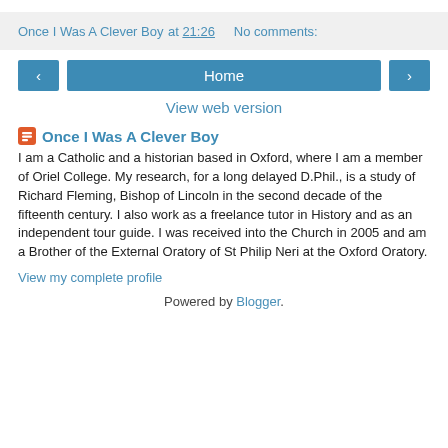Once I Was A Clever Boy at 21:26   No comments:
[Figure (screenshot): Navigation bar with back arrow button, Home button, and forward arrow button]
View web version
Once I Was A Clever Boy
I am a Catholic and a historian based in Oxford, where I am a member of Oriel College. My research, for a long delayed D.Phil., is a study of Richard Fleming, Bishop of Lincoln in the second decade of the fifteenth century. I also work as a freelance tutor in History and as an independent tour guide. I was received into the Church in 2005 and am a Brother of the External Oratory of St Philip Neri at the Oxford Oratory.
View my complete profile
Powered by Blogger.